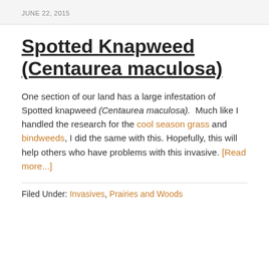JUNE 22, 2015
Spotted Knapweed (Centaurea maculosa)
One section of our land has a large infestation of Spotted knapweed (Centaurea maculosa). Much like I handled the research for the cool season grass and bindweeds, I did the same with this. Hopefully, this will help others who have problems with this invasive. [Read more...]
Filed Under: Invasives, Prairies and Woods